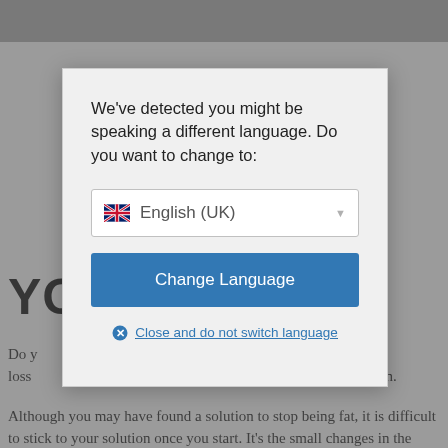[Figure (screenshot): Background webpage content partially visible behind a modal dialog. Shows a large bold heading starting with 'YO' and 'IT', and two paragraphs of body text about weight loss.]
We've detected you might be speaking a different language. Do you want to change to:
[Figure (other): Dropdown selector showing UK flag emoji and text 'English (UK)' with a dropdown arrow]
Change Language
Close and do not switch language